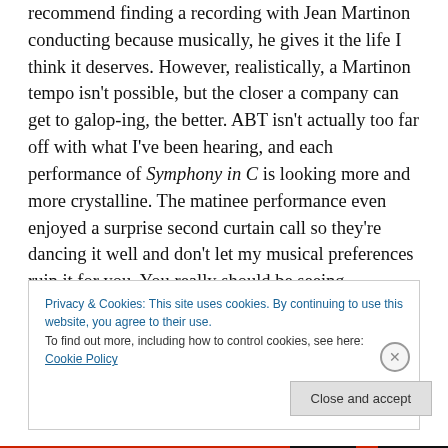recommend finding a recording with Jean Martinon conducting because musically, he gives it the life I think it deserves. However, realistically, a Martinon tempo isn't possible, but the closer a company can get to galop-ing, the better. ABT isn't actually too far off with what I've been hearing, and each performance of Symphony in C is looking more and more crystalline. The matinee performance even enjoyed a surprise second curtain call so they're dancing it well and don't let my musical preferences ruin it for you. You really should be seeing Seo/Hallberg on Thursday night anyway.
Privacy & Cookies: This site uses cookies. By continuing to use this website, you agree to their use. To find out more, including how to control cookies, see here: Cookie Policy
Close and accept